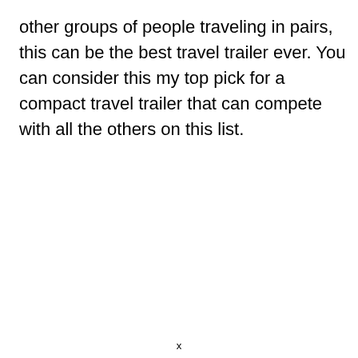other groups of people traveling in pairs, this can be the best travel trailer ever. You can consider this my top pick for a compact travel trailer that can compete with all the others on this list.
x